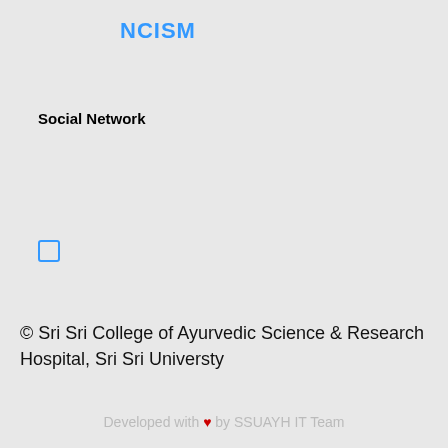NCISM
Social Network
[Figure (other): Small square icon outline (possibly a social media icon placeholder) with blue border]
© Sri Sri College of Ayurvedic Science & Research Hospital, Sri Sri Universty
Developed with ♥ by SSUAYH IT Team